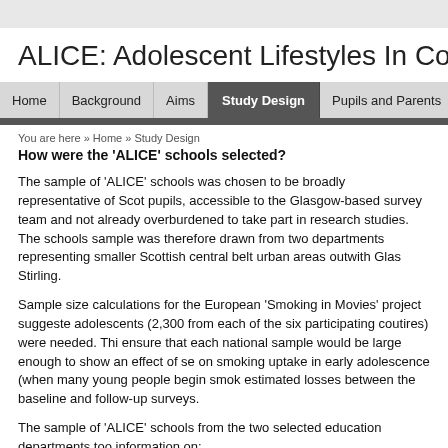ALICE: Adolescent Lifestyles In Con...
Home | Background | Aims | Study Design | Pupils and Parents | ...
You are here » Home » Study Design
How were the 'ALICE' schools selected?
The sample of 'ALICE' schools was chosen to be broadly representative of Scottish pupils, accessible to the Glasgow-based survey team and not already overburdened to take part in research studies. The schools sample was therefore drawn from two departments representing smaller Scottish central belt urban areas outwith Glasgow and Stirling.
Sample size calculations for the European 'Smoking in Movies' project suggested adolescents (2,300 from each of the six participating coutires) were needed. This ensure that each national sample would be large enough to show an effect of se on smoking uptake in early adolescence (when many young people begin smok estimated losses between the baseline and follow-up surveys.
The sample of 'ALICE' schools from the two selected education departments too information on: